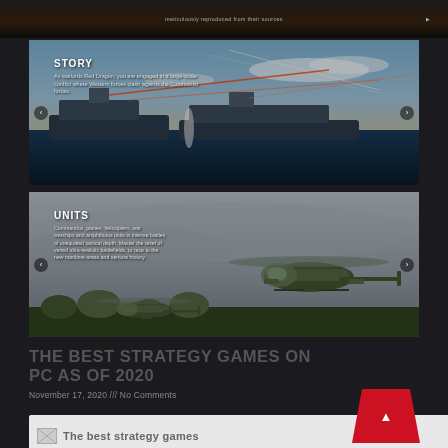[Figure (screenshot): Top partial strip of a dark-themed webpage, showing small text partially visible]
[Figure (screenshot): STORY panel: naval warships scene with laser effects, blue sky. Text overlay: STORY header and description about Red Dragon western forces clash against communist.]
[Figure (screenshot): UNITS panel: military helicopters flying in overcast sky. Text overlay: UNITS header and description about commandos, planes, helicopters, war warships and amphibious units.]
THE BEST STRATEGY GAMES ON PC AS OF 2020
November 17, 2020 /// No Comments
[Figure (screenshot): Bottom preview showing next article image placeholder with text 'The best strategy games']